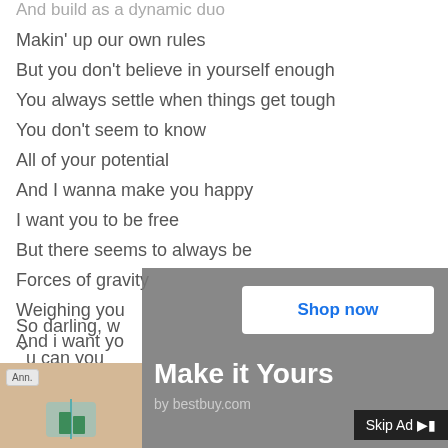And build as a dynamic duo
Makin' up our own rules
But you don't believe in yourself enough
You always settle when things get tough
You don't seem to know
All of your potential
And I wanna make you happy
I want you to be free
But there seems to always be
Forces of gravity
Weighing you...
And i want yo...

So darling, w...
u can you...
[Figure (screenshot): Advertisement overlay from bestbuy.com with 'Make it Yours' headline, 'Shop now' button, and 'Skip Ad' button. Partially covers song lyrics.]